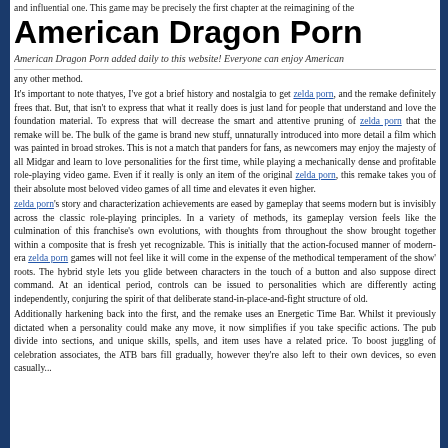and influential one. This game may be precisely the first chapter at the reimagining of the
American Dragon Porn
American Dragon Porn added daily to this website! Everyone can enjoy American
any other method.
It's important to note thatyes, I've got a brief history and nostalgia to get zelda porn, and the remake definitely frees that. But, that isn't to express that what it really does is just land for people that understand and love the foundation material. To express that will decrease the smart and attentive pruning of zelda porn that the remake will be. The bulk of the game is brand new stuff, unnaturally introduced into more detail a film which was painted in broad strokes. This is not a match that panders for fans, as newcomers may enjoy the majesty of all Midgar and learn to love personalities for the first time, while playing a mechanically dense and profitable role-playing video game. Even if it really is only an item of the original zelda porn, this remake takes you of their absolute most beloved video games of all time and elevates it even higher.
zelda porn's story and characterization achievements are eased by gameplay that seems modern but is invisibly across the classic role-playing principles. In a variety of methods, its gameplay version feels like the culmination of this franchise's own evolutions, with thoughts from throughout the show brought together within a composite that is fresh yet recognizable. This is initially that the action-focused manner of modern-era zelda porn games will not feel like it will come in the expense of the methodical temperament of the show' roots. The hybrid style lets you glide between characters in the touch of a button and also suppose direct command. At an identical period, controls can be issued to personalities which are differently acting independently, conjuring the spirit of that deliberate stand-in-place-and-fight structure of old.
Additionally harkening back into the first, and the remake uses an Energetic Time Bar. Whilst it previously dictated when a personality could make any move, it now simplifies if you take specific actions. The pub divide into sections, and unique skills, spells, and item uses have a related price. To boost juggling of celebration associates, the ATB bars fill gradually, however they're also left to their own devices, so even casually...